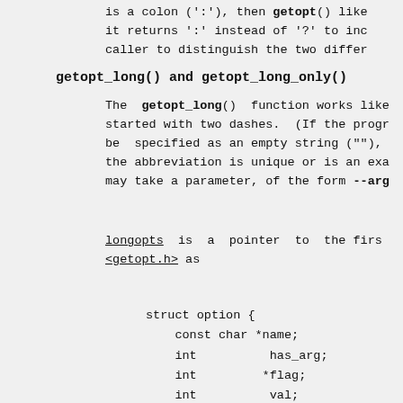is a colon (':'), then getopt() like
it returns ':' instead of '?' to inc
caller to distinguish the two differ
getopt_long() and getopt_long_only()
The  getopt_long()  function works like
started with two dashes.  (If the progr
be  specified as an empty string (""),
the abbreviation is unique or is an exa
may take a parameter, of the form --arg
longopts  is  a  pointer  to  the firs
<getopt.h> as
struct option {
    const char *name;
    int          has_arg;
    int         *flag;
    int          val;